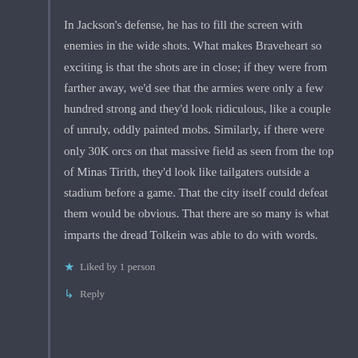In Jackson's defense, he has to fill the screen with enemies in the wide shots. What makes Braveheart so exciting is that the shots are in close; if they were from farther away, we'd see that the armies were only a few hundred strong and they'd look ridiculous, like a couple of unruly, oddly painted mobs. Similarly, if there were only 30K orcs on that massive field as seen from the top of Minas Tirith, they'd look like tailgaters outside a stadium before a game. That the city itself could defeat them would be obvious. That there are so many is what imparts the dread Tolkein was able to do with words.
★ Liked by 1 person
↳ Reply